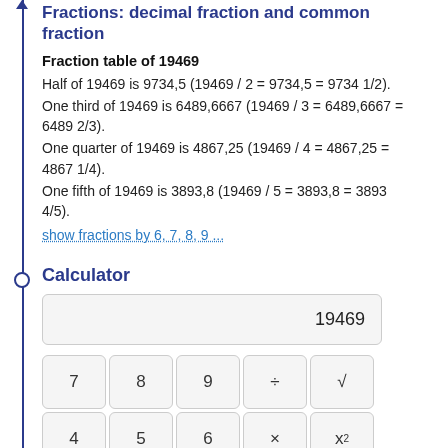Fractions: decimal fraction and common fraction
Fraction table of 19469
Half of 19469 is 9734,5 (19469 / 2 = 9734,5 = 9734 1/2).
One third of 19469 is 6489,6667 (19469 / 3 = 6489,6667 = 6489 2/3).
One quarter of 19469 is 4867,25 (19469 / 4 = 4867,25 = 4867 1/4).
One fifth of 19469 is 3893,8 (19469 / 5 = 3893,8 = 3893 4/5).
show fractions by 6, 7, 8, 9 ...
Calculator
[Figure (other): Calculator widget showing input field with value 19469 and calculator buttons: 7, 8, 9, ÷, √, 4, 5, 6, ×, x²]